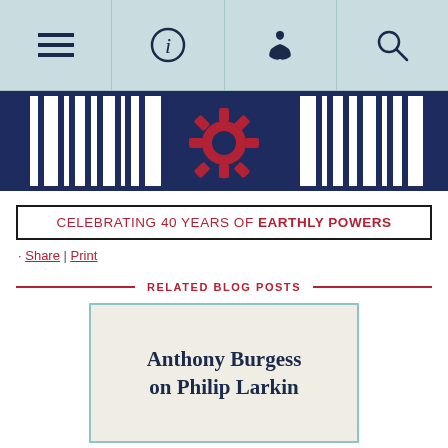Navigation bar with menu, info, donate, search icons
[Figure (illustration): Dark blue barcode-style banner with a red gear/cog icon in the center]
CELEBRATING 40 YEARS OF EARTHLY POWERS
Share | Print
RELATED BLOG POSTS
Anthony Burgess on Philip Larkin